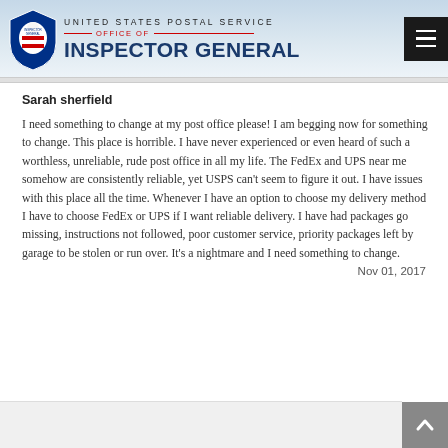UNITED STATES POSTAL SERVICE OFFICE OF INSPECTOR GENERAL
Sarah sherfield
I need something to change at my post office please! I am begging now for something to change. This place is horrible. I have never experienced or even heard of such a worthless, unreliable, rude post office in all my life. The FedEx and UPS near me somehow are consistently reliable, yet USPS can't seem to figure it out. I have issues with this place all the time. Whenever I have an option to choose my delivery method I have to choose FedEx or UPS if I want reliable delivery. I have had packages go missing, instructions not followed, poor customer service, priority packages left by garage to be stolen or run over. It's a nightmare and I need something to change.
Nov 01, 2017